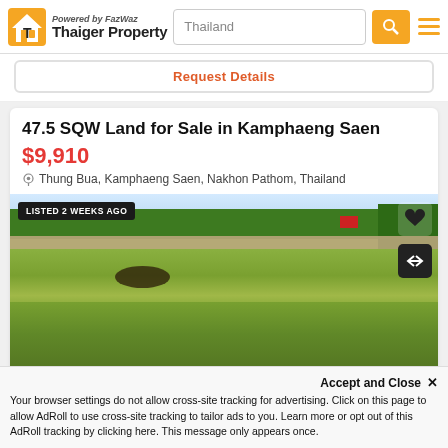[Figure (logo): Thaiger Property logo with house icon, Powered by FazWaz text, search bar showing Thailand, orange search button, orange menu lines]
Request Details
47.5 SQW Land for Sale in Kamphaeng Saen
$9,910
Thung Bua, Kamphaeng Saen, Nakhon Pathom, Thailand
[Figure (photo): Outdoor photo of vacant land with green grass and a dirt road/path, badge showing LISTED 2 WEEKS AGO, heart icon and expand icon overlaid]
Accept and Close ✕
Your browser settings do not allow cross-site tracking for advertising. Click on this page to allow AdRoll to use cross-site tracking to tailor ads to you. Learn more or opt out of this AdRoll tracking by clicking here. This message only appears once.